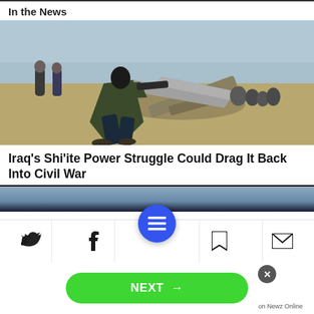In the News
[Figure (photo): Armed fighter in military fatigues in foreground, group of people crouching near rubble and fallen concrete structures in background, dusty conflict zone scene]
Iraq's Shi'ite Power Struggle Could Drag It Back Into Civil War
[Figure (screenshot): Partial view of a second news article image, dark blue tones, partially visible]
[Figure (infographic): Mobile app navigation bar with Twitter, Facebook, menu button (blue circle with hamburger icon), bookmark, and email icons; below is a green NEXT button with arrow, a close X button, and 'on Newz Online' label]